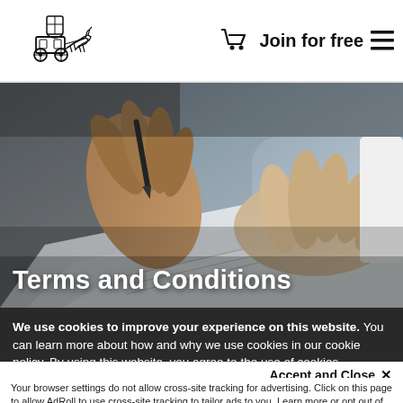Join for free
[Figure (photo): Close-up photo of two people signing or reviewing a document, hands holding a pen over paper]
Terms and Conditions
We use cookies to improve your experience on this website. You can learn more about how and why we use cookies in our cookie policy. By using this website, you agree to the use of cookies.
Accept and Close ✕
Your browser settings do not allow cross-site tracking for advertising. Click on this page to allow AdRoll to use cross-site tracking to tailor ads to you. Learn more or opt out of this AdRoll tracking by clicking here. This message only appears once.